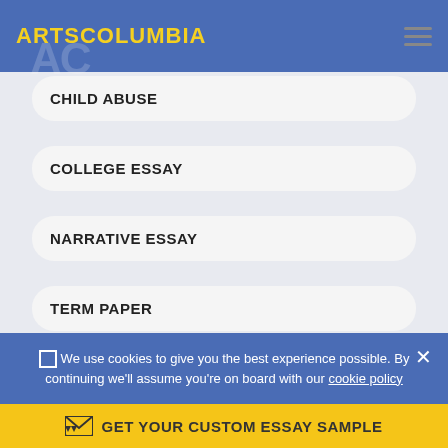ARTSCOLUMBIA
CHILD ABUSE
COLLEGE ESSAY
NARRATIVE ESSAY
TERM PAPER
DISCRIMINATION
We use cookies to give you the best experience possible. By continuing we'll assume you're on board with our cookie policy
GET YOUR CUSTOM ESSAY SAMPLE